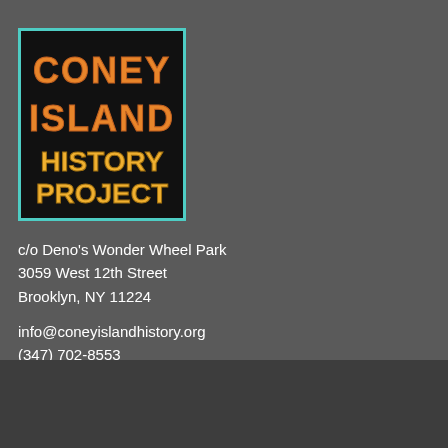[Figure (logo): Coney Island History Project logo: dark background with teal border, letters filled with Coney Island imagery, text reads CONEY ISLAND HISTORY PROJECT in orange/gold lettering]
c/o Deno's Wonder Wheel Park
3059 West 12th Street
Brooklyn, NY 11224
info@coneyislandhistory.org
(347) 702-8553
Content © 2022 Coney Island History Project
All material on the CIHP website is copyrighted and cannot
be used without permission